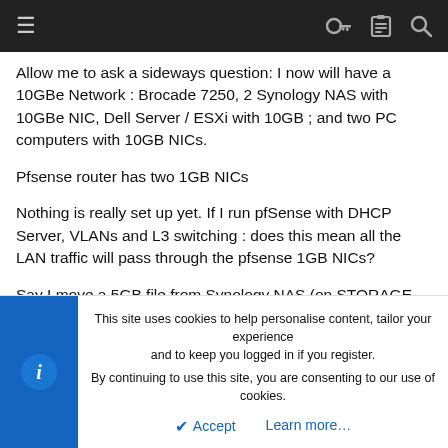≡  🔑 📋 🔍
Allow me to ask a sideways question: I now will have a 10GBe Network : Brocade 7250, 2 Synology NAS with 10GBe NIC, Dell Server / ESXi with 10GB ; and two PC computers with 10GB NICs.
Pfsense router has two 1GB NICs
Nothing is really set up yet. If I run pfSense with DHCP Server, VLANs and L3 switching : does this mean all the LAN traffic will pass through the pfsense 1GB NICs?
Say I move a 5GB file from Synology NAS (on STORAGE-VLAN) to PC Computer [on LAN-VLAN] (10GB in both boxes).
This site uses cookies to help personalise content, tailor your experience and to keep you logged in if you register.
By continuing to use this site, you are consenting to our use of cookies.